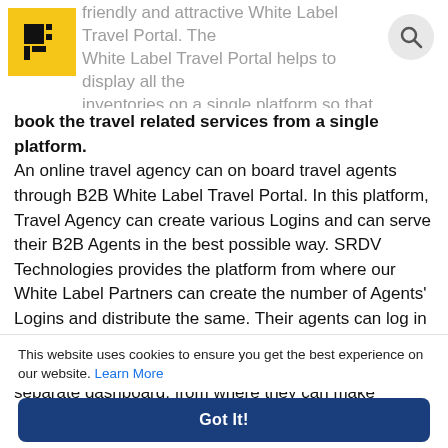friendly and attractive White Label Travel Portal. The White Label Travel Portal helps to display all the inventories on a single platform so that customer can
book the travel related services from a single platform. An online travel agency can on board travel agents through B2B White Label Travel Portal. In this platform, Travel Agency can create various Logins and can serve their B2B Agents in the best possible way. SRDV Technologies provides the platform from where our White Label Partners can create the number of Agents' Logins and distribute the same. Their agents can log in the same on B2B White Label Travel Portal. Each travel agents have their unique Login Credentials and separate dashboard, from where they can make
This website uses cookies to ensure you get the best experience on our website. Learn More
Got It!